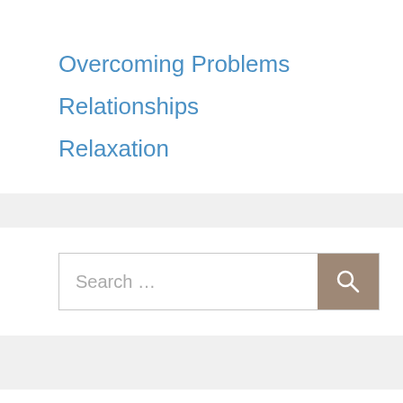Overcoming Problems
Relationships
Relaxation
[Figure (screenshot): Search input box with placeholder text 'Search ...' and a tan/brown search button with a magnifying glass icon]